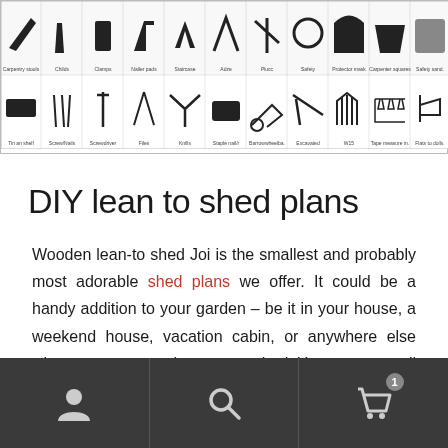[Figure (illustration): Two rows of tool icons in a grid with labels beneath each icon. Tools include carpentry and construction tools.]
DIY lean to shed plans
Wooden lean-to shed Joi is the smallest and probably most adorable shed plans we offer. It could be a handy addition to your garden – be it in your house, a weekend house, vacation cabin, or anywhere else where you can need a storage shed. You can store all types of things, tools, garden or household equipment, sports equipment, clothes for another season, really anything you can think of. Wooden lean-to shed Joi will easily lean to the bigger
user icon | search icon | cart icon with badge 1